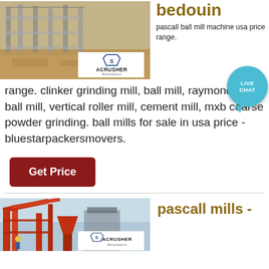[Figure (photo): Construction site with building structure and ACRUSHER Mining Equipment logo overlay]
bedouin
pascall ball mill machine usa price range. clinker grinding mill, ball mill, raymond mill, ball mill, vertical roller mill, cement mill, mxb coarse powder grinding. ball mills for sale in usa price - bluestarpackersmovers.
Get Price
[Figure (photo): Industrial mining conveyor and processing equipment with ACRUSHER Mining Equipment logo overlay]
pascall mills -